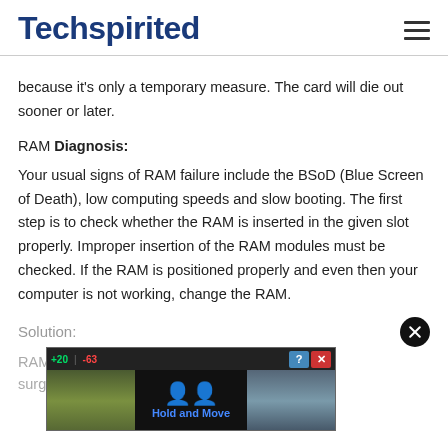Techspirited
because it's only a temporary measure. The card will die out sooner or later.
RAM Diagnosis:
Your usual signs of RAM failure include the BSoD (Blue Screen of Death), low computing speeds and slow booting. The first step is to check whether the RAM is inserted in the given slot properly. Improper insertion of the RAM modules must be checked. If the RAM is positioned properly and even then your computer is not working, change the RAM.
Solution:
RAM
[Figure (screenshot): Advertisement overlay showing a mobile game with 'Hold and Move' text and score display, with close (X) and help (?) buttons]